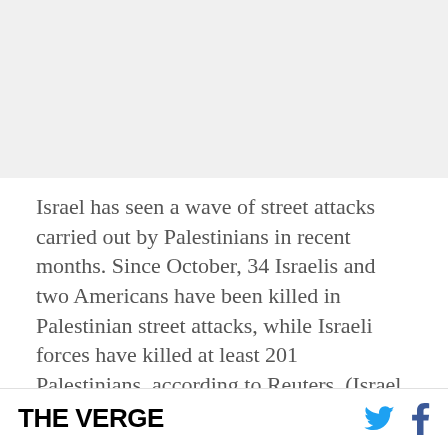[Figure (photo): Image placeholder area at top of article page]
Israel has seen a wave of street attacks carried out by Palestinians in recent months. Since October, 34 Israelis and two Americans have been killed in Palestinian street attacks, while Israeli forces have killed at least 201 Palestinians, according to Reuters. (Israel says that 137 of those killed were attackers.) The Israeli government says that much
THE VERGE